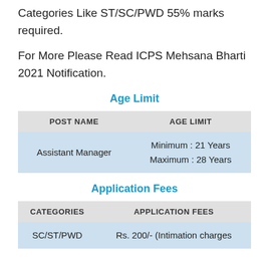Categories Like ST/SC/PWD 55% marks required.
For More Please Read ICPS Mehsana Bharti 2021 Notification.
Age Limit
| POST NAME | AGE LIMIT |
| --- | --- |
| Assistant Manager | Minimum : 21 Years
Maximum : 28 Years |
Application Fees
| CATEGORIES | APPLICATION FEES |
| --- | --- |
| SC/ST/PWD | Rs. 200/- (Intimation charges |